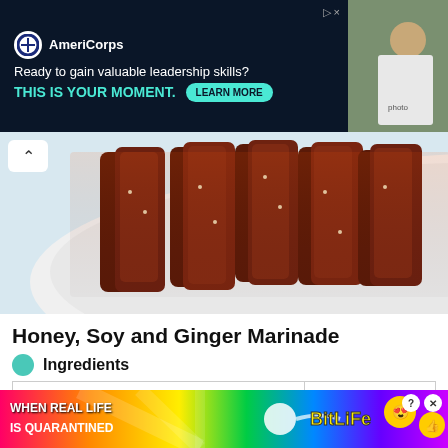[Figure (screenshot): AmeriCorps advertisement banner with dark navy background. Logo, text 'Ready to gain valuable leadership skills? THIS IS YOUR MOMENT.' with teal LEARN MORE button. Photo of people on right side.]
[Figure (photo): Food photo showing glazed ribs on a white plate, dark red/brown caramelized coating, close-up view.]
Honey, Soy and Ginger Marinade
Ingredients
| Ingredient | Amount |
| --- | --- |
| Salt reduced soy sauce | ⅓ cup |
| Ginger, grated |  |
[Figure (screenshot): BitLife advertisement banner with rainbow/colorful gradient background. Text: 'WHEN REAL LIFE IS QUARANTINED' with BitLife logo and emoji icons.]